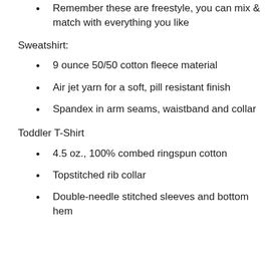Remember these are freestyle, you can mix & match with everything you like
Sweatshirt:
9 ounce 50/50 cotton fleece material
Air jet yarn for a soft, pill resistant finish
Spandex in arm seams, waistband and collar
Toddler T-Shirt
4.5 oz., 100% combed ringspun cotton
Topstitched rib collar
Double-needle stitched sleeves and bottom hem